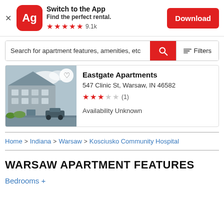[Figure (screenshot): App banner for Apartments.com (Ag) with red rounded icon, title 'Switch to the App', subtitle 'Find the perfect rental.', 5 red stars with 9.1k rating, and red Download button]
Search for apartment features, amenities, etc
[Figure (photo): Photo of Eastgate Apartments building exterior with parking lot and cars]
Eastgate Apartments
547 Clinic St, Warsaw, IN 46582
★★★☆☆ (1)
Availability Unknown
Home > Indiana > Warsaw > Kosciusko Community Hospital
WARSAW APARTMENT FEATURES
Bedrooms +